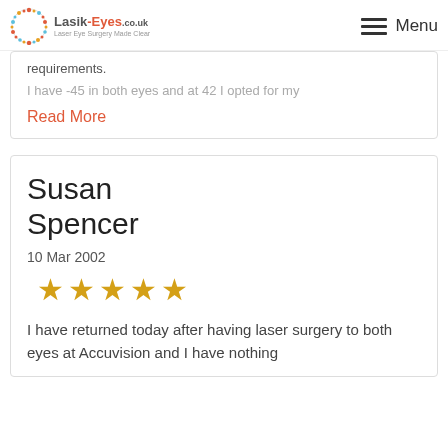Lasik-Eyes.co.uk — Menu
requirements.
I have -45 in both eyes and at 42 I opted for my
Read More
Susan Spencer
10 Mar 2002
[Figure (other): 5 gold stars rating]
I have returned today after having laser surgery to both eyes at Accuvision and I have nothing